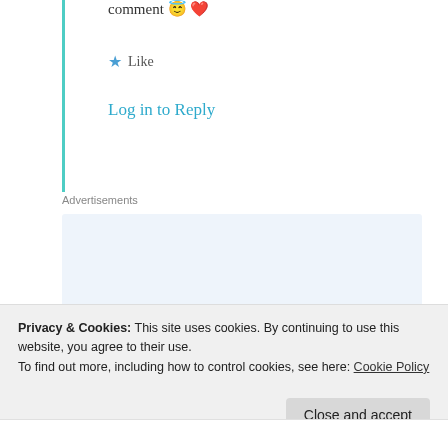comment 😇 ❤️
★ Like
Log in to Reply
Advertisements
[Figure (illustration): Advertisement banner with text: Build a writing habit. Post on the go.]
Privacy & Cookies: This site uses cookies. By continuing to use this website, you agree to their use. To find out more, including how to control cookies, see here: Cookie Policy
Close and accept